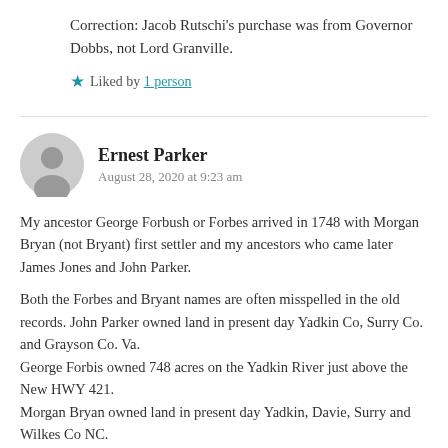Correction: Jacob Rutschi's purchase was from Governor Dobbs, not Lord Granville.
★ Liked by 1 person
Ernest Parker
August 28, 2020 at 9:23 am
My ancestor George Forbush or Forbes arrived in 1748 with Morgan Bryan (not Bryant) first settler and my ancestors who came later James Jones and John Parker.
Both the Forbes and Bryant names are often misspelled in the old records. John Parker owned land in present day Yadkin Co, Surry Co. and Grayson Co. Va.
George Forbis owned 748 acres on the Yadkin River just above the New HWY 421.
Morgan Bryan owned land in present day Yadkin, Davie, Surry and Wilkes Co NC.
All the Bryans and Forbis went west with Daniel Boone, except for Elizabeth Forbis
who married James Jones.